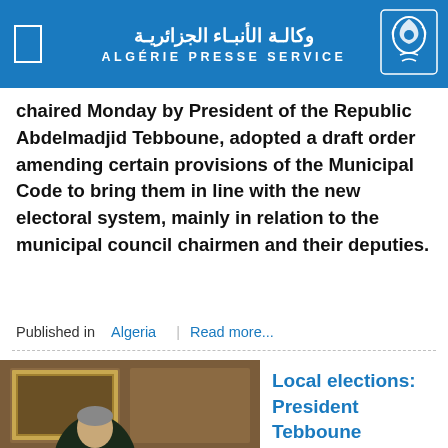وكالـة الأنبـاء الجزائريـة ALGÉRIE PRESSE SERVICE
chaired Monday by President of the Republic Abdelmadjid Tebboune, adopted a draft order amending certain provisions of the Municipal Code to bring them in line with the new electoral system, mainly in relation to the municipal council chairmen and their deputies.
Published in  Algeria  |  Read more...
[Figure (photo): President Tebboune seated at a desk, signing documents in an official office setting. Caption: Archives APS]
Local elections: President Tebboune convenes the electorate